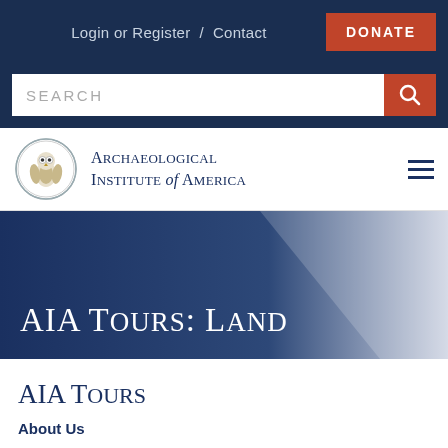Login or Register / Contact   DONATE
[Figure (screenshot): Search bar with SEARCH placeholder text and orange search button]
[Figure (logo): Archaeological Institute of America circular seal/logo]
Archaeological Institute of America
[Figure (infographic): Hero banner with dark blue to light grey/white gradient background]
AIA Tours: Land
AIA Tours
About Us